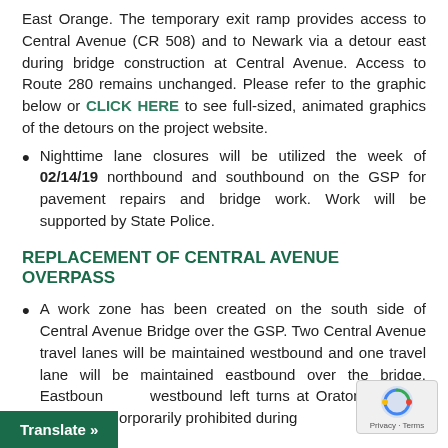East Orange. The temporary exit ramp provides access to Central Avenue (CR 508) and to Newark via a detour east during bridge construction at Central Avenue. Access to Route 280 remains unchanged. Please refer to the graphic below or CLICK HERE to see full-sized, animated graphics of the detours on the project website.
Nighttime lane closures will be utilized the week of 02/14/19 northbound and southbound on the GSP for pavement repairs and bridge work. Work will be supported by State Police.
REPLACEMENT OF CENTRAL AVENUE OVERPASS
A work zone has been created on the south side of Central Avenue Bridge over the GSP. Two Central Avenue travel lanes will be maintained westbound and one travel lane will be maintained eastbound over the bridge. Eastbound and westbound left turns at Oraton Parkway and Whittle temporarily prohibited during